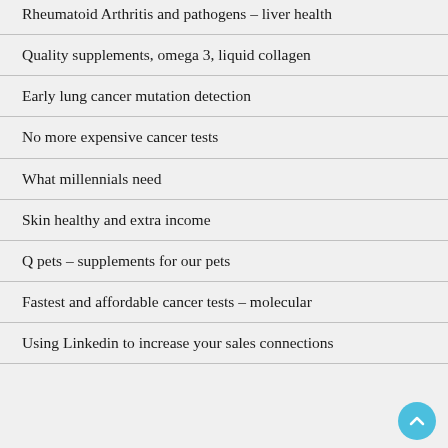Rheumatoid Arthritis and pathogens – liver health
Quality supplements, omega 3, liquid collagen
Early lung cancer mutation detection
No more expensive cancer tests
What millennials need
Skin healthy and extra income
Q pets – supplements for our pets
Fastest and affordable cancer tests – molecular
Using Linkedin to increase your sales connections